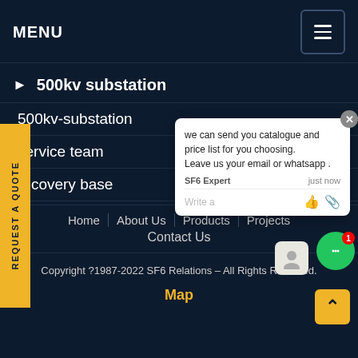MENU
> 500kv substation
500kv-substation
service team
recovery base
[Figure (screenshot): Chat popup with message: we can send you catalogue and price list for you choosing. Leave us your email or whatsapp . From SF6 Expert just now. Write a message input with like and attachment icons.]
REQUEST A QUOTE
Home | About Us | Products | Projects
Contact Us
Copyright ?1987-2022 SF6 Relations - All Rights Reserved.
Map